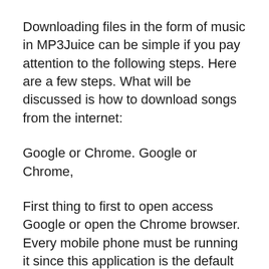Downloading files in the form of music in MP3Juice can be simple if you pay attention to the following steps. Here are a few steps. What will be discussed is how to download songs from the internet:
Google or Chrome. Google or Chrome,
First thing to first to open access Google or open the Chrome browser. Every mobile phone must be running it since this application is the default that runs on each of iOS along with Android.